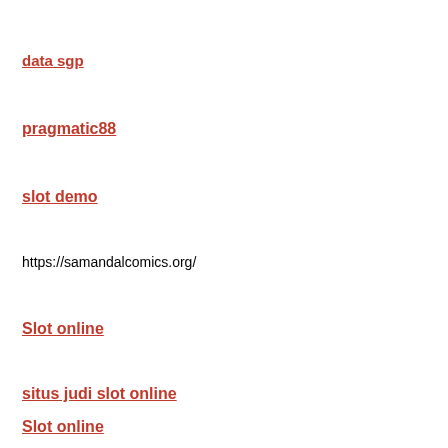data sgp
pragmatic88
slot demo
https://samandalcomics.org/
Slot online
situs judi slot online
Slot online